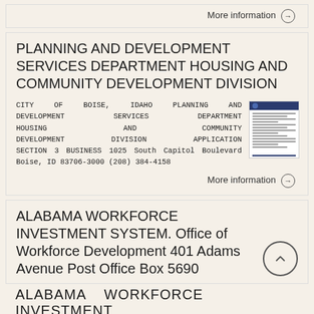More information →
PLANNING AND DEVELOPMENT SERVICES DEPARTMENT HOUSING AND COMMUNITY DEVELOPMENT DIVISION
CITY OF BOISE, IDAHO PLANNING AND DEVELOPMENT SERVICES DEPARTMENT HOUSING AND COMMUNITY DEVELOPMENT DIVISION APPLICATION SECTION 3 BUSINESS 1025 South Capitol Boulevard Boise, ID 83706-3000 (208) 384-4158
More information →
ALABAMA WORKFORCE INVESTMENT SYSTEM. Office of Workforce Development 401 Adams Avenue Post Office Box 5690
ALABAMA WORKFORCE INVESTMENT